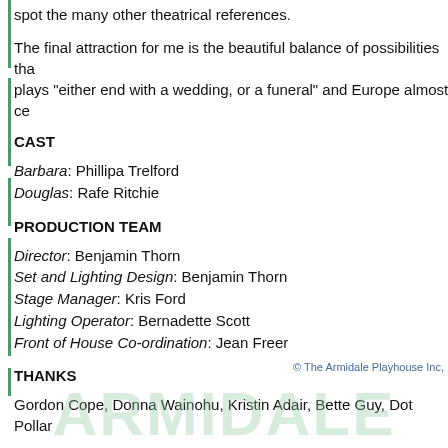spot the many other theatrical references.
The final attraction for me is the beautiful balance of possibilities tha... plays "either end with a wedding, or a funeral" and Europe almost ce...
CAST
Barbara: Phillipa Trelford
Douglas: Rafe Ritchie
PRODUCTION TEAM
Director: Benjamin Thorn
Set and Lighting Design: Benjamin Thorn
Stage Manager: Kris Ford
Lighting Operator: Bernadette Scott
Front of House Co-ordination: Jean Freer
THANKS
Gordon Cope, Donna Wainohu, Kristin Adair, Bette Guy, Dot Pollar...
© The Armidale Playhouse Inc,